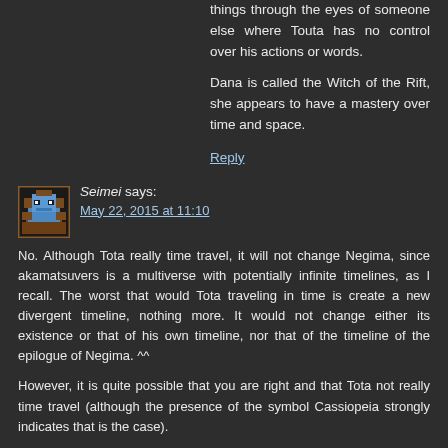things through the eyes of someone else where Touta has no control over his actions or words.
Dana is called the Witch of the Rift, she appears to have a mastery over time and space.
Reply
[Figure (illustration): Pixel art avatar icon with brown border, blue and brown character design]
Seimei says:
May 22, 2015 at 11:10
No. Although Tota really time travel, it will not change Negima, since akamatsuvers is a multiverse with potentially infinite timelines, as I recall. The worst that would Tota traveling in time is create a new divergent timeline, nothing more. It would not change either its existence or that of his own timeline, nor that of the timeline of the epilogue of Negima. ^^
However, it is quite possible that you are right and that Tota not really time travel (although the presence of the symbol Cassiopeia strongly indicates that is the case).
Or Dana Castle is a place out of time (similar to “Toki-Toki” in Dragon Ball xenovers for those who have played this game) and